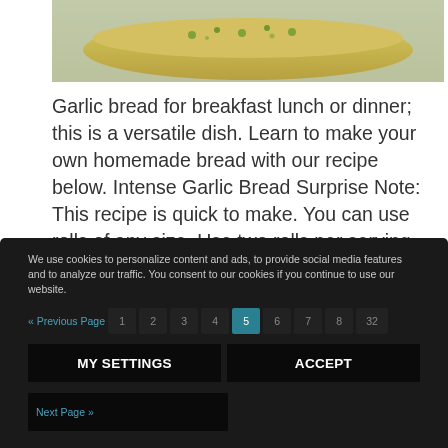[Figure (photo): Photo of garlic bread, partially visible at top of page, showing a piece of bread with green herbs on a light surface]
Garlic bread for breakfast lunch or dinner; this is a versatile dish. Learn to make your own homemade bread with our recipe below. Intense Garlic Bread Surprise Note: This recipe is quick to make. You can use rolls of any size. Use two rolls per serving (or more). For two or three servings of garlic bread, mix 1/3 cup butter with 8 Teasps crushed garlic or 4 Teasps powdered …Continue Reading
We use cookies to personalize content and ads, to provide social media features and to analyze our traffic. You consent to our cookies if you continue to use our website.
« Previous Page   1  2  3  4  5  6  7  8  32
MY SETTINGS   ACCEPT
Next Page »